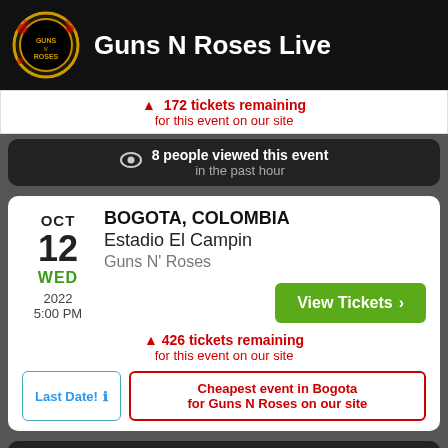Guns N Roses Live
⚠ 172 tickets remaining for this event on our site
8 people viewed this event in the past hour
OCT 12 WED 2022 5:00 PM BOGOTA, COLOMBIA Estadio El Campin Guns N' Roses
View Tickets ›
⚠ 426 tickets remaining for this event on our site
Last Date! ℹ
Cheapest event in Bogota for Guns N Roses on our site
19 people viewed this event in the past hour